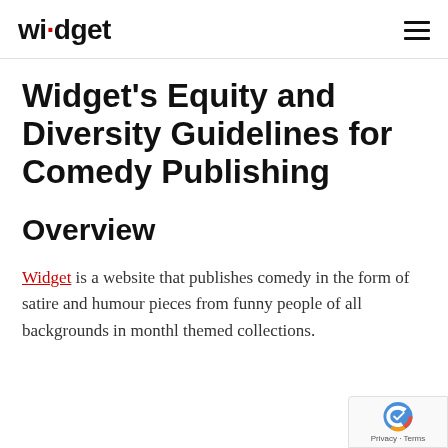widget
Widget's Equity and Diversity Guidelines for Comedy Publishing
Overview
Widget is a website that publishes comedy in the form of satire and humour pieces from funny people of all backgrounds in monthly themed collections.